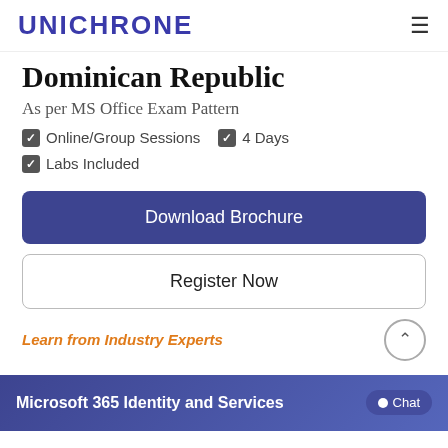UNICHRONE
Dominican Republic
As per MS Office Exam Pattern
Online/Group Sessions
4 Days
Labs Included
Download Brochure
Register Now
Learn from Industry Experts
Microsoft 365 Identity and Services